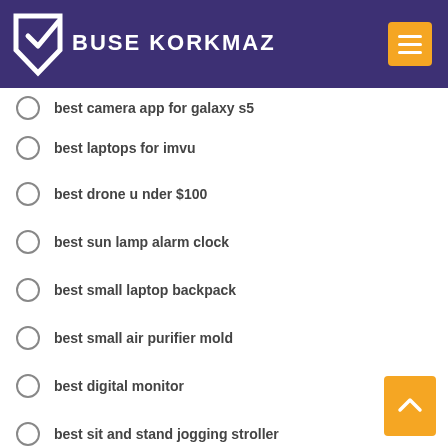BUSE KORKMAZ
best camera app for galaxy s5
best laptops for imvu
best drone under $100
best sun lamp alarm clock
best small laptop backpack
best small air purifier mold
best digital monitor
best sit and stand jogging stroller
best tv amplifier splitter
best in car air pump
best low end gaming pc